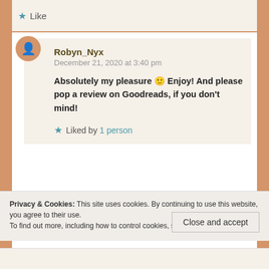Like
Robyn_Nyx
December 21, 2020 at 3:40 pm
Absolutely my pleasure 🙂 Enjoy! And please pop a review on Goodreads, if you don't mind!
Liked by 1 person
Leave a Reply
Privacy & Cookies: This site uses cookies. By continuing to use this website, you agree to their use.
To find out more, including how to control cookies, see here: Cookie Policy
Close and accept